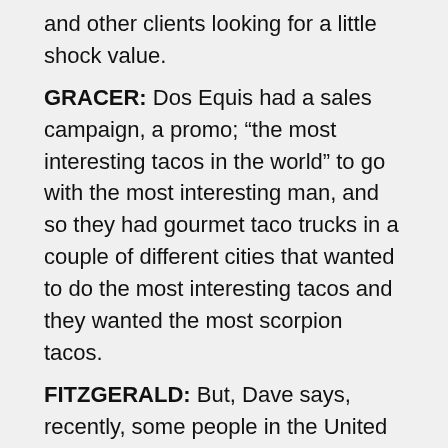and other clients looking for a little shock value.
GRACER: Dos Equis had a sales campaign, a promo; “the most interesting tacos in the world” to go with the most interesting man, and so they had gourmet taco trucks in a couple of different cities that wanted to do the most interesting tacos and they wanted the most scorpion tacos.
FITZGERALD: But, Dave says, recently, some people in the United States have begun to think of insects as a serious food for the future.
GRACER: There are companies now working to produce industrial commercial supplies of insects for human consumption in the U.S. and that is as of the last 18 months.
FITZGERALD: Farmed bugs could be eaten as